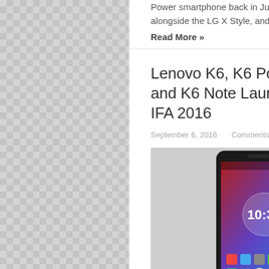Power smartphone back in June alongside the LG X Style, and the LG …
Read More »
Lenovo K6, K6 Power, and K6 Note Launched at IFA 2016
September 6, 2016   Comments Off
[Figure (photo): Lenovo K6 Power smartphone showing home screen with time 10:32, displaying app icons and a colorful wallpaper with red and blue tones]